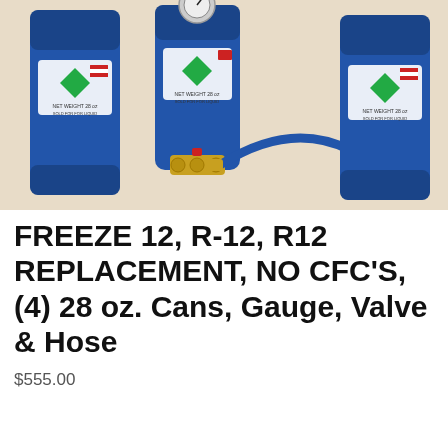[Figure (photo): Product photo showing four blue refrigerant cans labeled with green diamond logos and USA flags, brass fittings, a blue hose, and a gauge, arranged on a beige background.]
FREEZE 12, R-12, R12 REPLACEMENT, NO CFC'S,(4) 28 oz. Cans, Gauge, Valve & Hose
$555.00